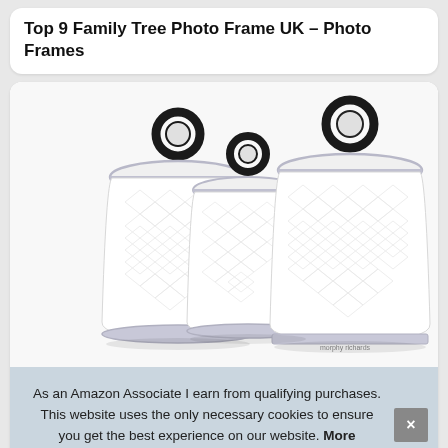Top 9 Family Tree Photo Frame UK – Photo Frames
[Figure (photo): Three white ceramic kitchen canisters with silver ring handles on lids and silver trim at base, textured diamond pattern on sides, Morphy Richards branded]
As an Amazon Associate I earn from qualifying purchases. This website uses the only necessary cookies to ensure you get the best experience on our website. More information